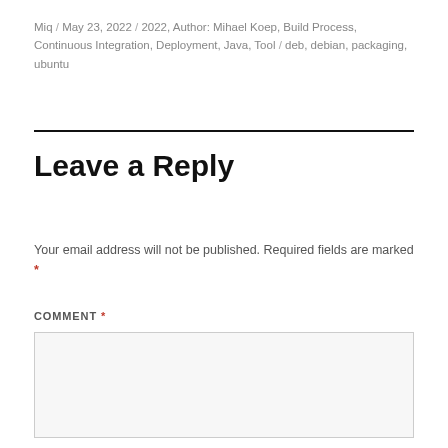Miq / May 23, 2022 / 2022, Author: Mihael Koep, Build Process, Continuous Integration, Deployment, Java, Tool / deb, debian, packaging, ubuntu
Leave a Reply
Your email address will not be published. Required fields are marked *
COMMENT *